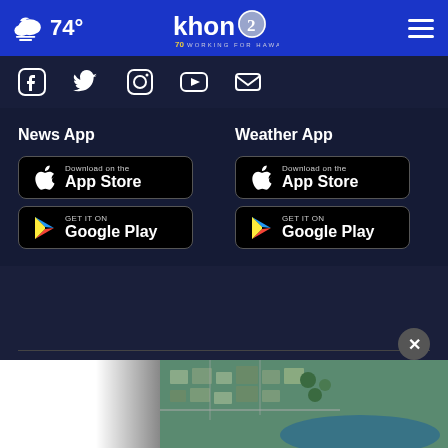74° khon2 Working for Hawaii
[Figure (screenshot): Social media icons: Facebook, Twitter, Instagram, YouTube, Email]
News App
[Figure (other): Download on the App Store button (black)]
[Figure (other): Get it on Google Play button (black)]
Weather App
[Figure (other): Download on the App Store button (black)]
[Figure (other): Get it on Google Play button (black)]
Meet the Team
Contact Us
Hawaii News
Hawaii Weather
Hawai...
[Figure (photo): Aerial photo of coastal Hawaii neighborhood, ad overlay at bottom of page]